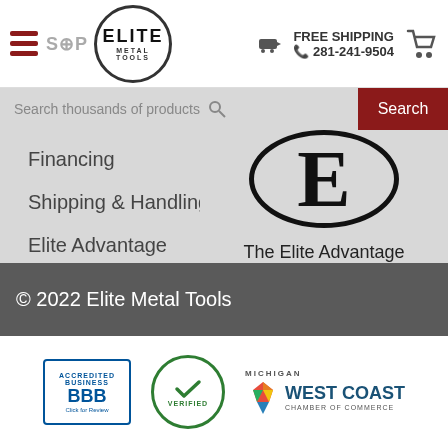[Figure (logo): Elite Metal Tools header logo with hamburger menu, SOP text, circular Elite Metal Tools logo, free shipping notice, phone number 281-241-9504, and shopping cart icon]
Financing
Shipping & Handling
Elite Advantage
Terms & Conditions
[Figure (logo): The Elite Advantage - circular logo with large E letter and text beneath reading 'The Elite Advantage']
© 2022 Elite Metal Tools
[Figure (logo): Footer trust badges: BBB Accredited Business Click for Review, Verified seal, Michigan West Coast Chamber of Commerce logo]